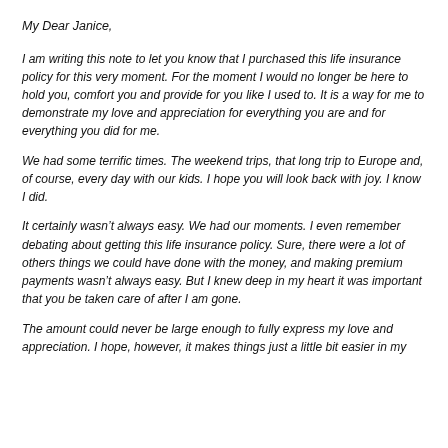My Dear Janice,
I am writing this note to let you know that I purchased this life insurance policy for this very moment. For the moment I would no longer be here to hold you, comfort you and provide for you like I used to. It is a way for me to demonstrate my love and appreciation for everything you are and for everything you did for me.
We had some terrific times. The weekend trips, that long trip to Europe and, of course, every day with our kids. I hope you will look back with joy. I know I did.
It certainly wasn’t always easy. We had our moments. I even remember debating about getting this life insurance policy. Sure, there were a lot of others things we could have done with the money, and making premium payments wasn’t always easy. But I knew deep in my heart it was important that you be taken care of after I am gone.
The amount could never be large enough to fully express my love and appreciation. I hope, however, it makes things just a little bit easier in my